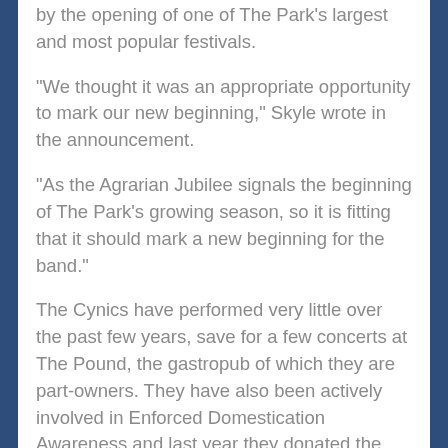by the opening of one of The Park's largest and most popular festivals.
"We thought it was an appropriate opportunity to mark our new beginning," Skyle wrote in the announcement.
"As the Agrarian Jubilee signals the beginning of The Park's growing season, so it is fitting that it should mark a new beginning for the band."
The Cynics have performed very little over the past few years, save for a few concerts at The Pound, the gastropub of which they are part-owners. They have also been actively involved in Enforced Domestication Awareness and last year they donated the proceeds of their song Diamond in the Ruff to that cause.